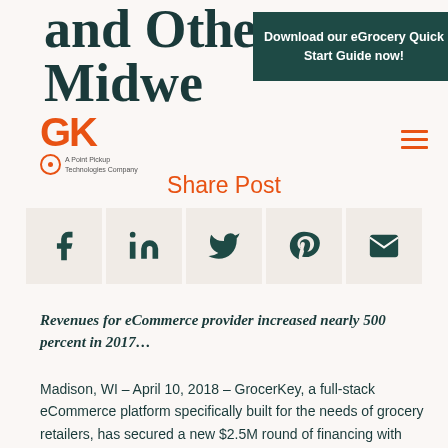and O... ...nment Midwe...
[Figure (logo): GK logo - GrocerKey, A Point Pickup Technologies Company, orange text]
[Figure (infographic): Dark green banner overlay: Download our eGrocery Quick Start Guide now!]
[Figure (other): Orange hamburger menu icon (three horizontal lines) in top right]
Share Post
[Figure (infographic): Social share buttons row: Facebook, LinkedIn, Twitter, Pinterest, Email icons in dark teal on light beige backgrounds]
Revenues for eCommerce provider increased nearly 500 percent in 2017…
Madison, WI – April 10, 2018 – GrocerKey, a full-stack eCommerce platform specifically built for the needs of grocery retailers, has secured a new $2.5M round of financing with participation from Woodman's Markets, dunnhumby Ventures, and other prominent Midwest angel investors. Woodman's Markets led the round. The